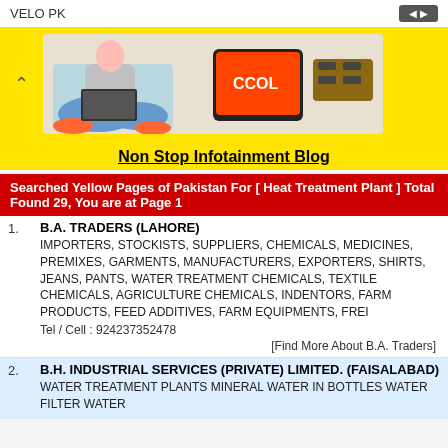VELO PK
[Figure (photo): Banner image showing a person sitting cross-legged with a laptop, mobile phone with CCOL branding, and a USB device on yellow background]
Non Stop Infotainment Blog
Searched Yellow Pages of Pakistan For [ Heat Treatment Plant ] Total Found 29, You are at Page 1
1. B.A. TRADERS (LAHORE) - IMPORTERS, STOCKISTS, SUPPLIERS, CHEMICALS, MEDICINES, PREMIXES, GARMENTS, MANUFACTURERS, EXPORTERS, SHIRTS, JEANS, PANTS, WATER TREATMENT CHEMICALS, TEXTILE CHEMICALS, AGRICULTURE CHEMICALS, INDENTORS, FARM PRODUCTS, FEED ADDITIVES, FARM EQUIPMENTS, FREI - Tel / Cell : 924237352478 - [Find More About B.A. Traders]
2. B.H. INDUSTRIAL SERVICES (PRIVATE) LIMITED. (FAISALABAD) - WATER TREATMENT PLANTS MINERAL WATER IN BOTTLES WATER FILTER WATER